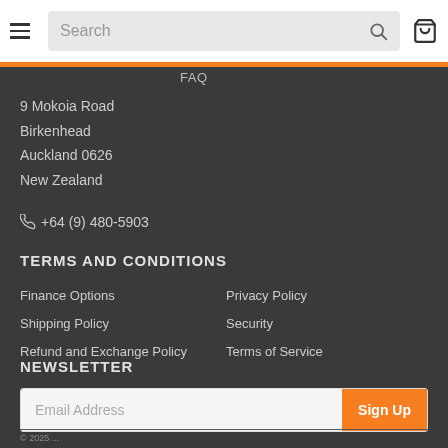Search (search bar with cart icon)
FAQ
9 Mokoia Road
Birkenhead
Auckland 0626
New Zealand
✆ +64 (9) 480-5903
TERMS AND CONDITIONS
Finance Options
Shipping Policy
Refund and Exchange Policy
Privacy Policy
Security
Terms of Service
NEWSLETTER
Email Address
Sign Up